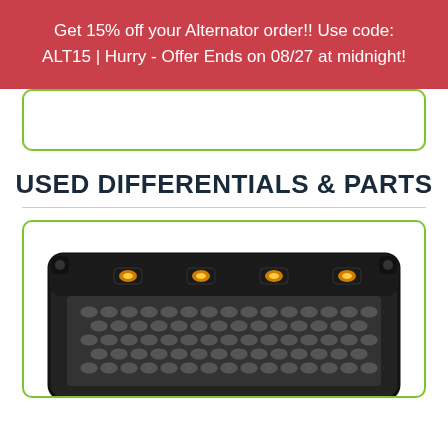Get 15% off your Alternator order!! Use code: ALT15 | Hurry - Offer Ends on 08/27 at midnight!
USED DIFFERENTIALS & PARTS
[Figure (photo): A black truck grille with hexagonal mesh pattern and four amber LED lights along the top bar, displayed in a white product card with green border.]